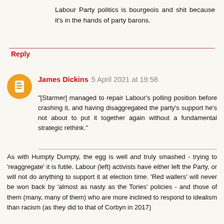Labour Party politics is bourgeois and shit because it's in the hands of party barons.
Reply
James Dickins  5 April 2021 at 19:58
"[Starmer] managed to repair Labour's polling position before crashing it, and having disaggregated the party's support he's not about to put it together again without a fundamental strategic rethink."
As with Humpty Dumpty, the egg is well and truly smashed - trying to 'reaggregate' it is futile. Labour (left) activists have either left the Party, or will not do anything to support it at election time. 'Red wallers' will never be won back by 'almost as nasty as the Tories' policies - and those of them (many, many of them) who are more inclined to respond to idealism than racism (as they did to that of Corbyn in 2017)